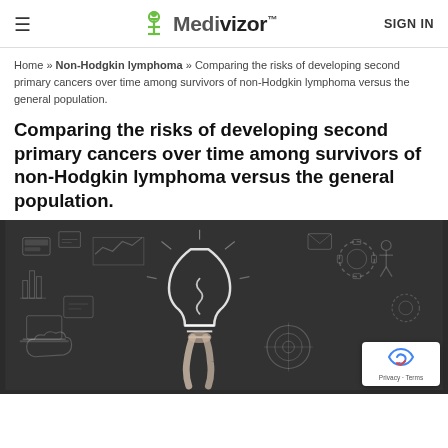≡  Medivizor™  SIGN IN
Home » Non-Hodgkin lymphoma » Comparing the risks of developing second primary cancers over time among survivors of non-Hodgkin lymphoma versus the general population.
Comparing the risks of developing second primary cancers over time among survivors of non-Hodgkin lymphoma versus the general population.
[Figure (illustration): Dark chalkboard-style hero image with a glowing light bulb drawn in white chalk lines, held by a hand, surrounded by various sketched icons including gears, graphs, and other business/creative doodles. A reCAPTCHA badge is overlaid in the bottom-right corner.]